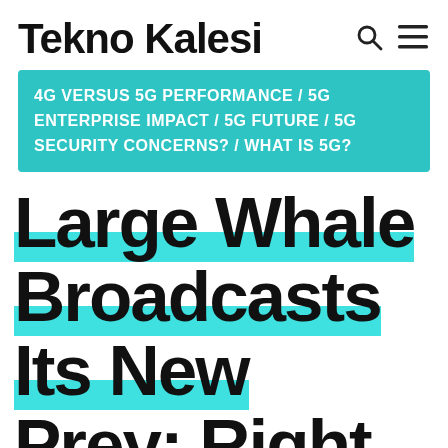Tekno Kalesi
4G VERSUS 5G PERFORMANCE / 5G ENTERPRISE IMPACT / 5G FUTURE / 5G SECURITY CONCERNS? / WHAT IS 5G?
Large Whale Broadcasts Its New Prey: Right here Are 7 Altcoins In Its Pocket!